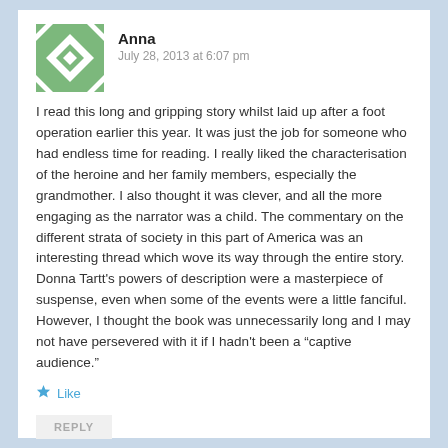[Figure (illustration): Green and white geometric quilt-pattern avatar icon for user Anna]
Anna
July 28, 2013 at 6:07 pm
I read this long and gripping story whilst laid up after a foot operation earlier this year. It was just the job for someone who had endless time for reading. I really liked the characterisation of the heroine and her family members, especially the grandmother. I also thought it was clever, and all the more engaging as the narrator was a child. The commentary on the different strata of society in this part of America was an interesting thread which wove its way through the entire story. Donna Tartt's powers of description were a masterpiece of suspense, even when some of the events were a little fanciful. However, I thought the book was unnecessarily long and I may not have persevered with it if I hadn't been a “captive audience.”
Like
REPLY